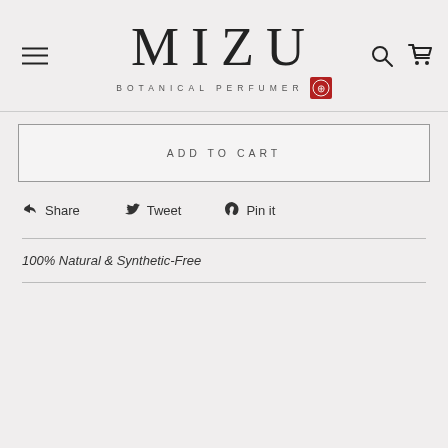MIZU BOTANICAL PERFUMER
ADD TO CART
Share  Tweet  Pin it
100% Natural & Synthetic-Free